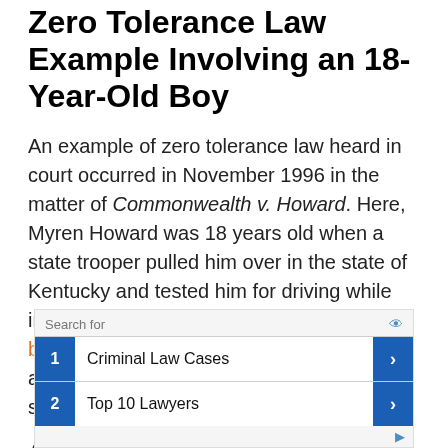Zero Tolerance Law Example Involving an 18-Year-Old Boy
An example of zero tolerance law heard in court occurred in November 1996 in the matter of Commonwealth v. Howard. Here, Myren Howard was 18 years old when a state trooper pulled him over in the state of Kentucky and tested him for driving while intoxicated. Howard showed a 0.032 on the breathalyzer test, so the state trooper arrested him and charged him with violating state law.
At his trial, Howard argued that the statute was unconstitutional and that it violated his equal
[Figure (other): Advertisement block with 'Search for' header and two sponsored links: 1. Criminal Law Cases, 2. Top 10 Lawyers]